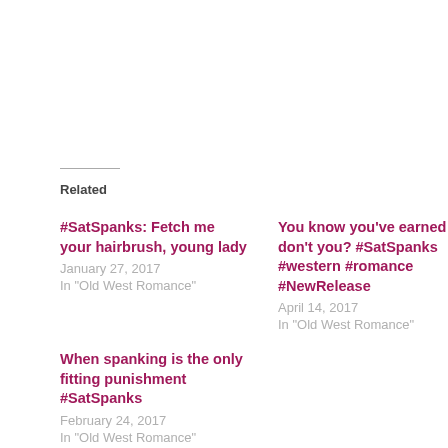Related
#SatSpanks: Fetch me your hairbrush, young lady
January 27, 2017
In "Old West Romance"
You know you've earned this, don't you? #SatSpanks #western #romance #NewRelease
April 14, 2017
In "Old West Romance"
When spanking is the only fitting punishment #SatSpanks
February 24, 2017
In "Old West Romance"